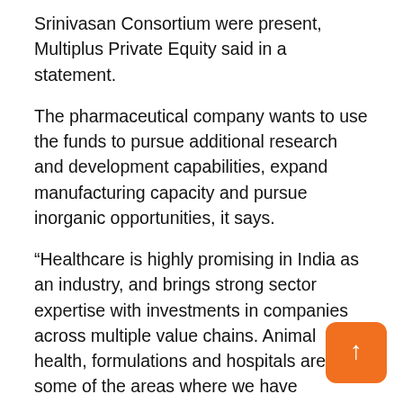Srinivasan Consortium were present, Multiplus Private Equity said in a statement.
The pharmaceutical company wants to use the funds to pursue additional research and development capabilities, expand manufacturing capacity and pursue inorganic opportunities, it says.
“Healthcare is highly promising in India as an industry, and brings strong sector expertise with investments in companies across multiple value chains. Animal health, formulations and hospitals are some of the areas where we have supported companies with strong differences and high-quality entrepreneurs and management teams. We will continue to explore partnerships with promising initiatives in the healthcare industry, ”said Manish Gaur, Managing